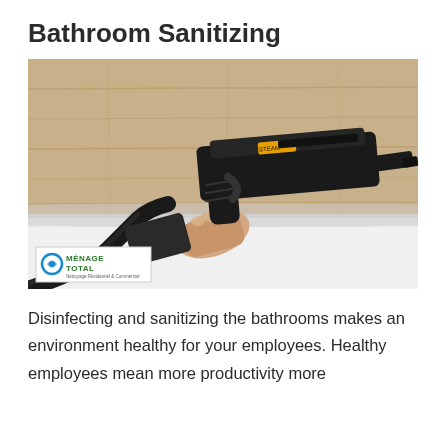Bathroom Sanitizing
[Figure (photo): A person's hand holding a black steam cleaning gun/sanitizing tool aimed at the edge of a white bathtub against a wood-paneled wall. The ménage total logo is overlaid in the bottom left corner of the photo.]
Disinfecting and sanitizing the bathrooms makes an environment healthy for your employees. Healthy employees mean more productivity more